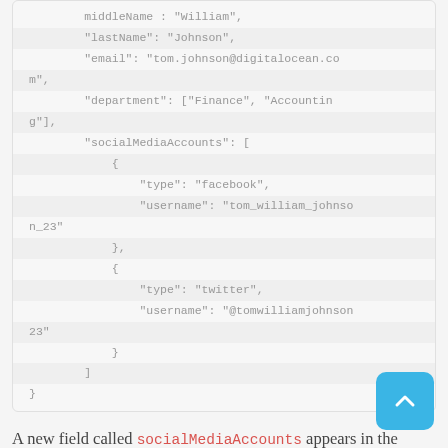middleName : "William",
"lastName": "Johnson",
"email": "tom.johnson@digitalocean.com",
"department": ["Finance", "Accounting"],
"socialMediaAccounts": [
    {
        "type": "facebook",
        "username": "tom_william_johnson_23"
    },
    {
        "type": "twitter",
        "username": "@tomwilliamjohnson23"
    }
]
}
A new field called socialMediaAccounts appears in the document, but instead of a single value, it refers to an array of nested objects describing individual